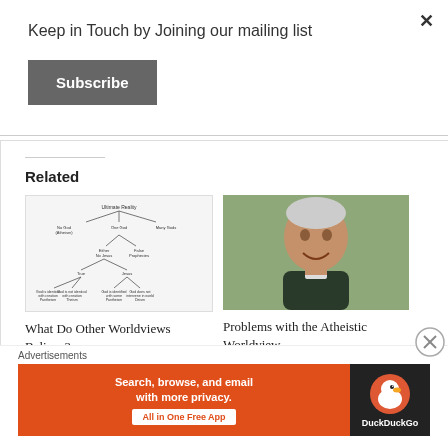Keep in Touch by Joining our mailing list
Subscribe
Related
[Figure (flowchart): Flowchart diagram showing theological/worldview classification hierarchy]
What Do Other Worldviews Believe?
October 22, 2018
In "Apologetics"
[Figure (photo): Photo of an older smiling man with gray/white hair, wearing a dark shirt]
Problems with the Atheistic Worldview
December 7, 2018
Advertisements
[Figure (infographic): DuckDuckGo advertisement banner: 'Search, browse, and email with more privacy. All in One Free App' with DuckDuckGo duck logo on dark background]